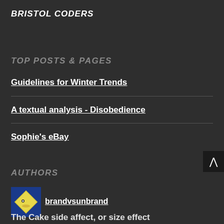BRISTOL CODERS
TOP POSTS & PAGES
Guidelines for Winter Trends
A textual analysis - Disobedience
Sophie's eBay
AUTHORS
[Figure (illustration): Author avatar: yellow diamond-shaped face icon on blue background]
brandvsunbrand
The Cake side affect, or size effect